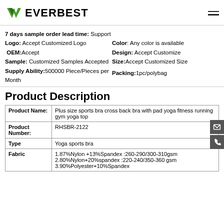[Figure (logo): Everbest company logo with green checkmark/V shape and bold text EVERBEST]
7 days sample order lead time: Support
Logo: Accept Customized Logo
OEM: Accept
Sample: Customized Samples Accepted
Supply Ability: 500000 Piece/Pieces per Month
Color: Any color is available
Design: Accept Customize
Size: Accept Customized Size
Packing: 1pc/polybag
Product Description
| Product Name: | Product Number: | Type | Fabric |
| --- | --- | --- | --- |
| Product Name: | Plus size sports bra cross back bra with pad yoga fitness running gym yoga top |
| Product Number: | RHSBR-2122 |
| Type | Yoga sports bra |
| Fabric | 1.87%Nylon +13%Spandex :260-290/300-310gsm
2.80%Nylon+20%spandex :220-240/350-360 gsm
3.90%Polyester+10%Spandex |